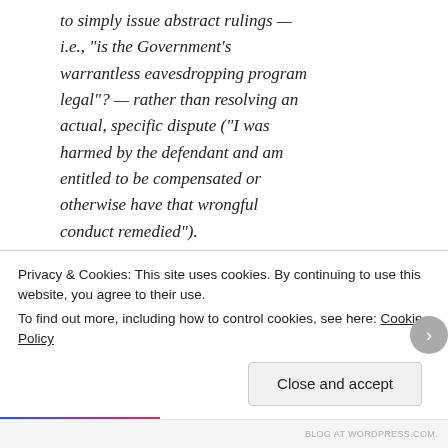to simply issue abstract rulings — i.e., "is the Government's warrantless eavesdropping program legal"? — rather than resolving an actual, specific dispute ("I was harmed by the defendant and am entitled to be compensated or otherwise have that wrongful conduct remedied").
Independent of the question of whether the standing issue was correctly resolved here — and all of
Privacy & Cookies: This site uses cookies. By continuing to use this website, you agree to their use.
To find out more, including how to control cookies, see here: Cookie Policy
Close and accept